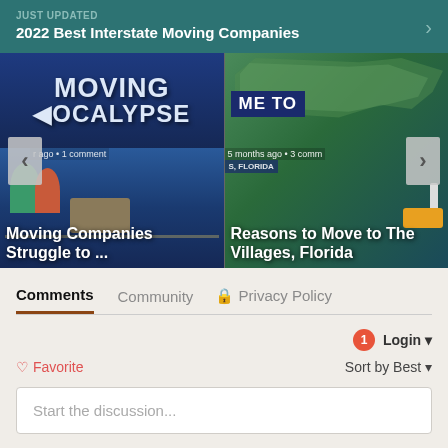JUST UPDATED
2022 Best Interstate Moving Companies
[Figure (screenshot): Left article card: 'Moving Companies Struggle to ...' with animated illustration showing 'MOVING OCALYPSE' text and cartoon moving scene. Shows timestamp and comment count.]
[Figure (screenshot): Right article card: 'Reasons to Move to The Villages, Florida' with green US map background and welcome sign. Shows '5 months ago • 3 comm...' timestamp.]
Comments
Community
Privacy Policy
Login
Favorite
Sort by Best
Start the discussion...